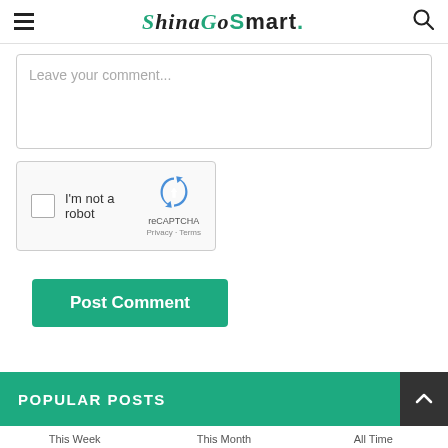ChinaGoSmart.
Leave your comment...
[Figure (other): reCAPTCHA widget with checkbox labeled 'I'm not a robot']
Post Comment
POPULAR POSTS
This Week  This Month  All Time